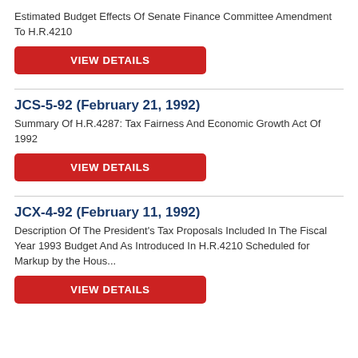Estimated Budget Effects Of Senate Finance Committee Amendment To H.R.4210
VIEW DETAILS
JCS-5-92 (February 21, 1992)
Summary Of H.R.4287: Tax Fairness And Economic Growth Act Of 1992
VIEW DETAILS
JCX-4-92 (February 11, 1992)
Description Of The President's Tax Proposals Included In The Fiscal Year 1993 Budget And As Introduced In H.R.4210 Scheduled for Markup by the Hous...
VIEW DETAILS